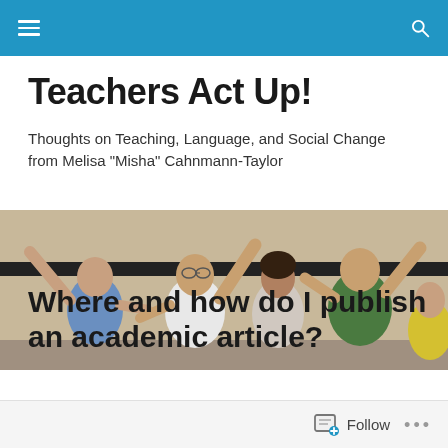Navigation bar with menu and search icons
Teachers Act Up!
Thoughts on Teaching, Language, and Social Change from Melisa "Misha" Cahnmann-Taylor
[Figure (photo): Group of four people with arms raised upward in an expressive, celebratory gesture inside a classroom or indoor setting.]
Where and how do I publish an academic article?
Follow  ...